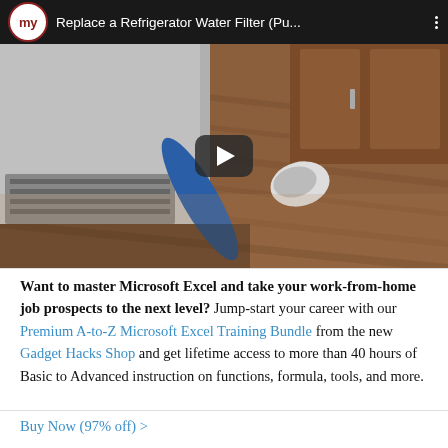[Figure (screenshot): YouTube video thumbnail showing a refrigerator water filter on a hardwood floor with a play button overlay. Title bar reads 'Replace a Refrigerator Water Filter (Pu...' with a circular logo on the left and three vertical dots on the right.]
Want to master Microsoft Excel and take your work-from-home job prospects to the next level? Jump-start your career with our Premium A-to-Z Microsoft Excel Training Bundle from the new Gadget Hacks Shop and get lifetime access to more than 40 hours of Basic to Advanced instruction on functions, formula, tools, and more.
Buy Now (97% off) >